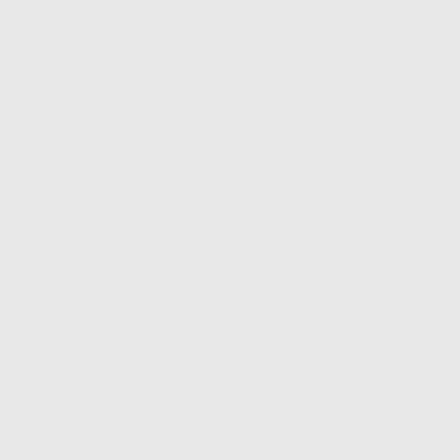| (in thousands) | March 31, 2022 | March 31, 2021 |
| --- | --- | --- |
| Balance at beginning of period | 65
5$ | 56
$4 |
| Additions to warranty reserve | 286 | 267 |
| Claims fulfilled | (139) | (293) |
| Balance at end of period | 80
$5 | 53
$8 |